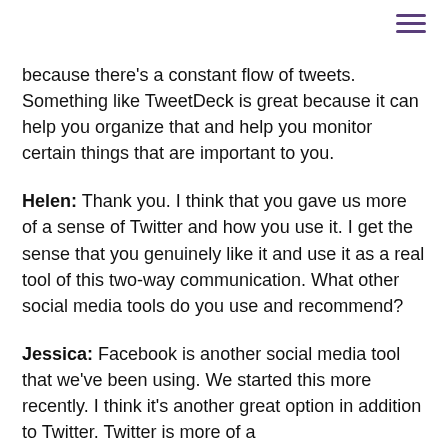because there's a constant flow of tweets. Something like TweetDeck is great because it can help you organize that and help you monitor certain things that are important to you.
Helen: Thank you. I think that you gave us more of a sense of Twitter and how you use it. I get the sense that you genuinely like it and use it as a real tool of this two-way communication. What other social media tools do you use and recommend?
Jessica: Facebook is another social media tool that we've been using. We started this more recently. I think it's another great option in addition to Twitter. Twitter is more of a...